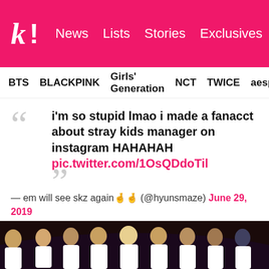k! News Lists Stories Exclusives
BTS BLACKPINK Girls' Generation NCT TWICE aespa
i'm so stupid lmao i made a fanacct about stray kids manager on instagram HAHAHAH pic.twitter.com/1OsQDdoTil
— em will see skz again🤞🤞 (@hyunsmaze) June 29, 2019
[Figure (photo): Group photo of Stray Kids members in white outfits standing together on a dark stage background]